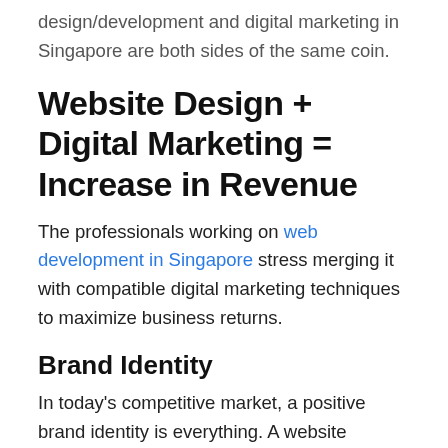design/development and digital marketing in Singapore are both sides of the same coin.
Website Design + Digital Marketing = Increase in Revenue
The professionals working on web development in Singapore stress merging it with compatible digital marketing techniques to maximize business returns.
Brand Identity
In today's competitive market, a positive brand identity is everything. A website creates the first brand impression in the minds of the target audience. It represents your brand, highlighting its USPs and camouflaging its shortcomings. Here's where the web